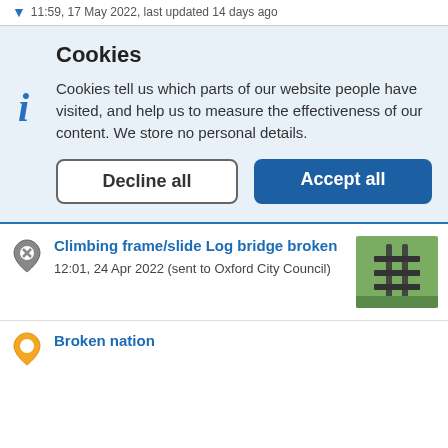11:59, 17 May 2022, last updated 14 days ago
Cookies
Cookies tell us which parts of our website people have visited, and help us to measure the effectiveness of our content. We store no personal details.
Decline all
Accept all
Climbing frame/slide Log bridge broken
12:01, 24 Apr 2022 (sent to Oxford City Council)
Broken nation